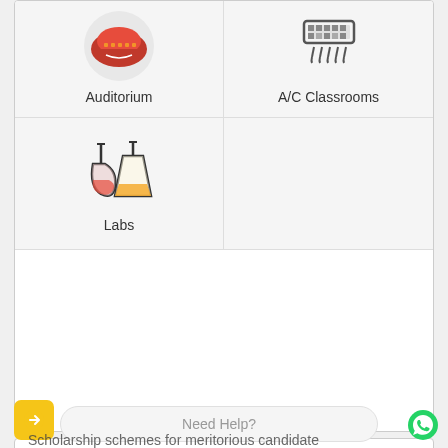[Figure (illustration): Auditorium icon - red/orange circular building icon]
Auditorium
[Figure (illustration): A/C Classrooms icon - air conditioning unit icon]
A/C Classrooms
[Figure (illustration): Labs icon - chemistry flasks/beakers illustration]
Labs
Accurate Institute of Management and Technology Scholarship
To motivate the meritorious applicants and to attract aspiring for higher education AIMT offers scholarship to meritorious candidates, based on their enterence test scores.
Scholarship schemes for meritorious candidate
Need Help?